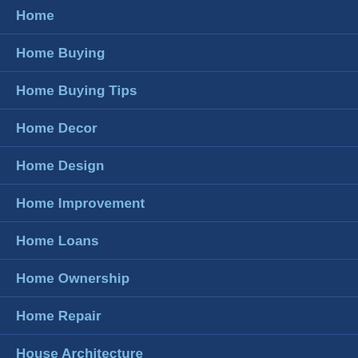Home
Home Buying
Home Buying Tips
Home Decor
Home Design
Home Improvement
Home Loans
Home Ownership
Home Repair
House Architecture
Identity Theft